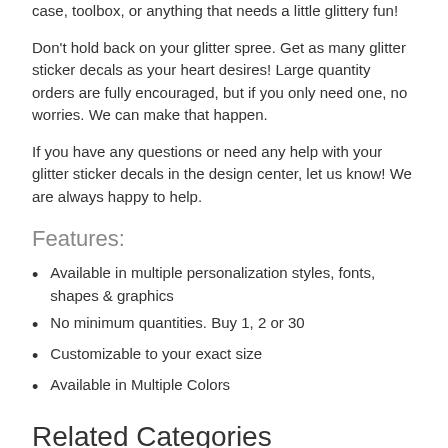case, toolbox, or anything that needs a little glittery fun!
Don't hold back on your glitter spree. Get as many glitter sticker decals as your heart desires! Large quantity orders are fully encouraged, but if you only need one, no worries. We can make that happen.
If you have any questions or need any help with your glitter sticker decals in the design center, let us know! We are always happy to help.
Features:
Available in multiple personalization styles, fonts, shapes & graphics
No minimum quantities. Buy 1, 2 or 30
Customizable to your exact size
Available in Multiple Colors
Related Categories
[Figure (other): A card or category thumbnail with rounded border and a small icon placeholder on the left]